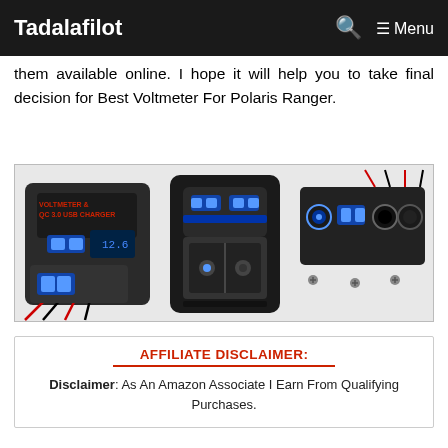Tadalafilot   🔍  ☰ Menu
...them available online. I hope it will help you to take final decision for Best Voltmeter For Polaris Ranger.
[Figure (photo): Product image showing a Voltmeter & QC 3.0 USB Charger device in three views: a close-up of the device with wiring, a standalone rocker switch charger, and a panel-mounted multi-port charging unit with screws.]
AFFILIATE DISCLAIMER:
Disclaimer: As An Amazon Associate I Earn From Qualifying Purchases.